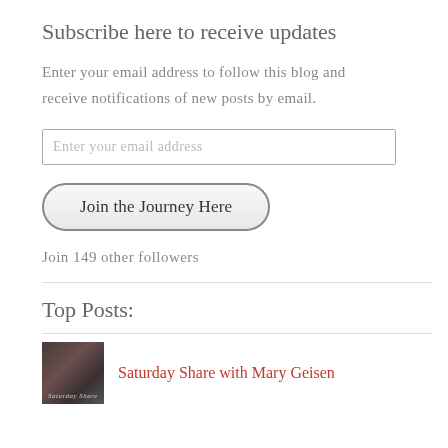Subscribe here to receive updates
Enter your email address to follow this blog and receive notifications of new posts by email.
Enter your email address
Join the Journey Here
Join 149 other followers
Top Posts:
Saturday Share with Mary Geisen